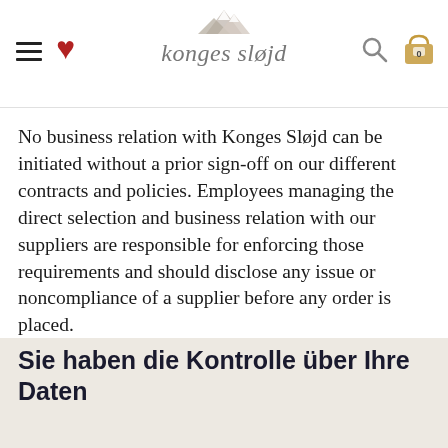konges sløjd — navigation header with hamburger, heart, logo, search, cart
No business relation with Konges Sløjd can be initiated without a prior sign-off on our different contracts and policies. Employees managing the direct selection and business relation with our suppliers are responsible for enforcing those requirements and should disclose any issue or noncompliance of a supplier before any order is placed.
Sie haben die Kontrolle über Ihre Daten
Alle ablehnen
Alle akzeptieren